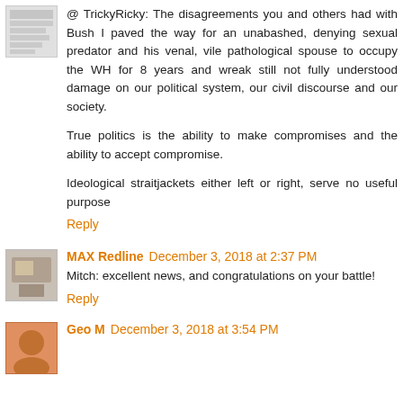@ TrickyRicky: The disagreements you and others had with Bush I paved the way for an unabashed, denying sexual predator and his venal, vile pathological spouse to occupy the WH for 8 years and wreak still not fully understood damage on our political system, our civil discourse and our society.

True politics is the ability to make compromises and the ability to accept compromise.

Ideological straitjackets either left or right, serve no useful purpose
Reply
MAX Redline December 3, 2018 at 2:37 PM
Mitch: excellent news, and congratulations on your battle!
Reply
Geo M December 3, 2018 at 3:54 PM